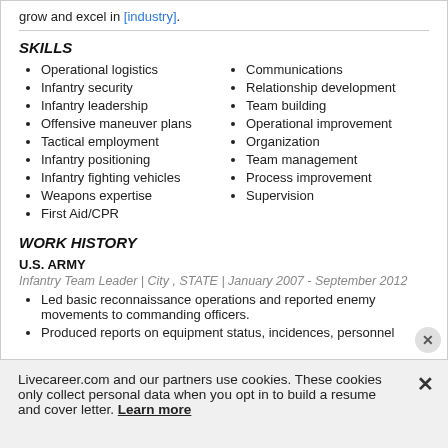grow and excel in [industry].
SKILLS
Operational logistics
Infantry security
Infantry leadership
Offensive maneuver plans
Tactical employment
Infantry positioning
Infantry fighting vehicles
Weapons expertise
First Aid/CPR
Communications
Relationship development
Team building
Operational improvement
Organization
Team management
Process improvement
Supervision
WORK HISTORY
U.S. ARMY
Infantry Team Leader | City , STATE | January 2007 - September 2012
Led basic reconnaissance operations and reported enemy movements to commanding officers.
Produced reports on equipment status, incidences, personnel
Livecareer.com and our partners use cookies. These cookies only collect personal data when you opt in to build a resume and cover letter. Learn more